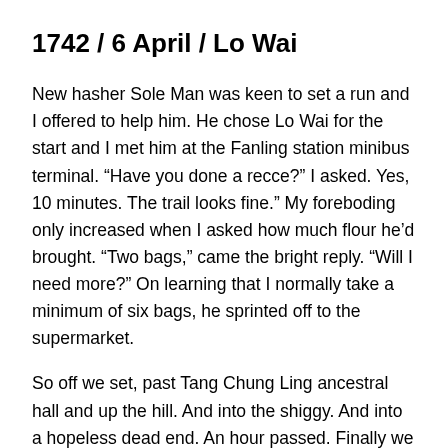1742 / 6 April / Lo Wai
New hasher Sole Man was keen to set a run and I offered to help him. He chose Lo Wai for the start and I met him at the Fanling station minibus terminal. “Have you done a recce?” I asked. Yes, 10 minutes. The trail looks fine.” My foreboding only increased when I asked how much flour he’d brought. “Two bags,” came the bright reply. “Will I need more?” On learning that I normally take a minimum of six bags, he sprinted off to the supermarket.
So off we set, past Tang Chung Ling ancestral hall and up the hill. And into the shiggy. And into a hopeless dead end. An hour passed. Finally we got onto a viable pylon trail and pressed up to the saddle of Bird Hill from the north, then took the easterly direction along the very rugged